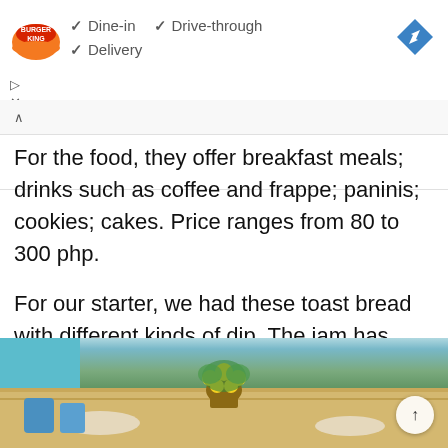[Figure (logo): Burger King logo with orange crown on red/orange background]
✓ Dine-in  ✓ Drive-through
✓ Delivery
[Figure (other): Blue diamond navigation/directions icon]
For the food, they offer breakfast meals; drinks such as coffee and frappe; paninis; cookies; cakes. Price ranges from 80 to 300 php.
For our starter, we had these toast bread with different kinds of dip. The jam has spicy-kick, which was Chili Mango and Chili Orange.
[Figure (photo): Restaurant table photo with yellow flower arrangement in pot, plates and food items visible, bright natural lighting]